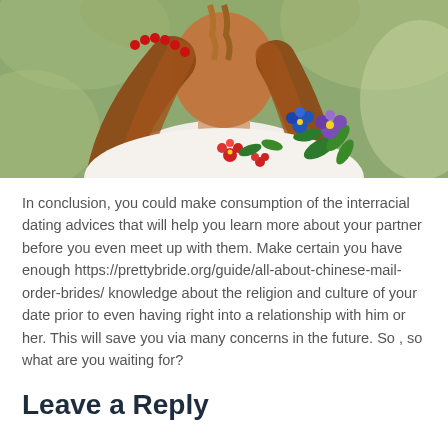[Figure (photo): A woman with long auburn hair wearing a white embroidered blouse with colorful floral embroidery (red, blue, purple, green flowers and leaves). Background is blurred green foliage. The image is cropped to show from the shoulders up.]
In conclusion, you could make consumption of the interracial dating advices that will help you learn more about your partner before you even meet up with them. Make certain you have enough https://prettybride.org/guide/all-about-chinese-mail-order-brides/ knowledge about the religion and culture of your date prior to even having right into a relationship with him or her. This will save you via many concerns in the future. So , so what are you waiting for?
Leave a Reply